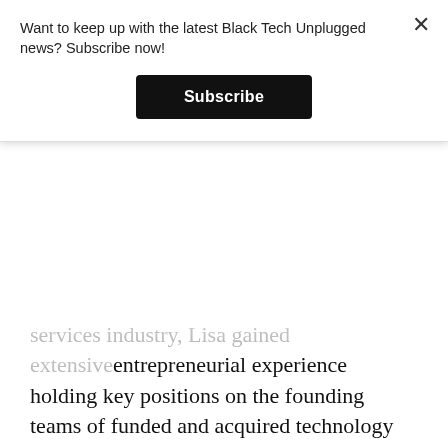Want to keep up with the latest Black Tech Unplugged news? Subscribe now!
Subscribe
services industry, Lisa gained extensive entrepreneurial experience holding key positions on the founding teams of funded and acquired technology startups. Over the years she has been recognized for her commitment to community and the impact of her efforts focused on mentorship, education and creating opportunities for women and marginalized communities. Currently she leverages her passions and expertise to help take the guesswork out of diversity & inclusion as Co-Founder and